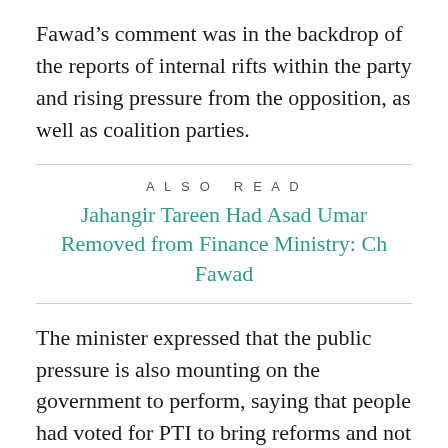Fawad’s comment was in the backdrop of the reports of internal rifts within the party and rising pressure from the opposition, as well as coalition parties.
ALSO READ
Jahangir Tareen Had Asad Umar Removed from Finance Ministry: Ch Fawad
The minister expressed that the public pressure is also mounting on the government to perform, saying that people had voted for PTI to bring reforms and not fixing the nuts and bolts of the opposition.
Fawad noted that PM Imran’s vision of systemic